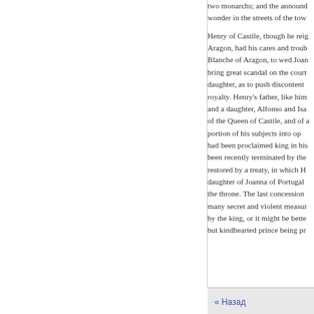two monarchs; and the annound wonder in the streets of the tow
Henry of Castile, though he reig Aragon, had his cares and troub Blanche of Aragon, to wed Joan bring great scandal on the court daughter, as to push discontent royalty. Henry's father, like him and a daughter, Alfonso and Isa of the Queen of Castile, and of a portion of his subjects into op had been proclaimed king in his been recently terminated by the restored by a treaty, in which H daughter of Joanna of Portugal the throne. The last concession many secret and violent measur by the king, or it might be bette but kindhearted prince being pr
« Назад